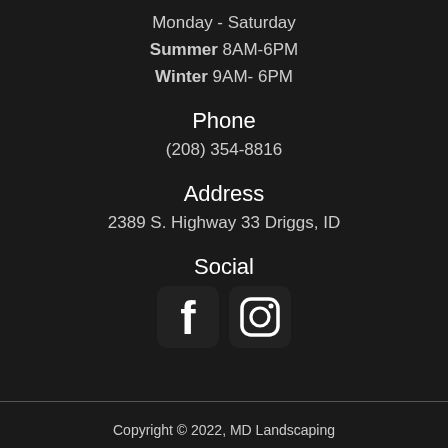Monday - Saturday
Summer 8AM-6PM
Winter 9AM- 6PM
Phone
(208) 354-8816
Address
2389 S. Highway 33 Driggs, ID
Social
[Figure (logo): Facebook and Instagram social media icons in white on dark rounded square backgrounds]
Copyright © 2022, MD Landscaping